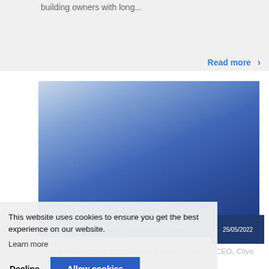building owners with long...
Read more ›
[Figure (photo): Blue gradient image, possibly an abstract or sky photo, used as article thumbnail for an insurance podcast article.]
25/05/2022
The Voice of Insurance Podcast – Clive Duesnei's H...ake our...
Listen to The Voice of Insurance podcast from our CEO, Clivo Buosnei. In an incisive interview
This website uses cookies to ensure you get the best experience on our website.
Learn more
Decline
Allow cookies